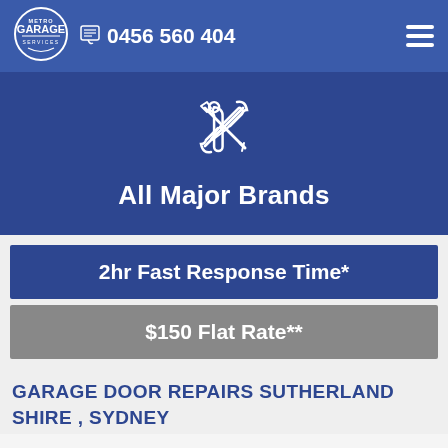Metro Garage Services — 0456 560 404
[Figure (logo): Crossed screwdriver and wrench tools icon]
All Major Brands
2hr Fast Response Time*
$150 Flat Rate**
GARAGE DOOR REPAIRS SUTHERLAND SHIRE , SYDNEY